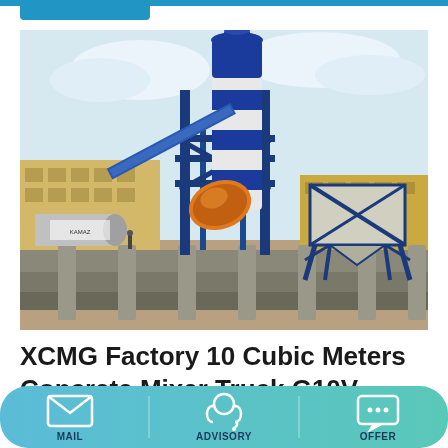[Figure (photo): Concrete batching plant with a tall blue-and-white cylindrical silo, orange mixer drum on a blue steel frame, conveyor belt, and aggregate hopper, photographed outdoors with industrial buildings in the background and a concrete retaining wall in the foreground.]
XCMG Factory 10 Cubic Meters Concrete Mixer Truck G10V
MAIL   ADVISORY   OFFER